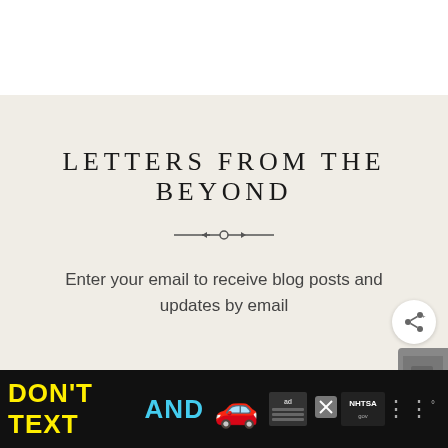LETTERS FROM THE BEYOND
Enter your email to receive blog posts and updates by email
[Figure (infographic): Advertisement banner: DON'T TEXT AND [car emoji] with ad badge and NHTSA logo on black background]